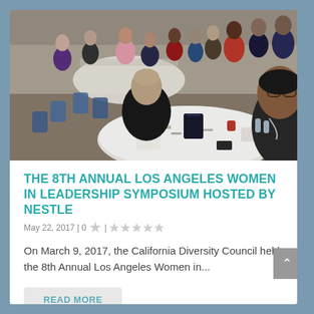[Figure (photo): Conference room photo showing women seated at round tables covered with white tablecloths during the 8th Annual Los Angeles Women in Leadership Symposium hosted by Nestle. Attendees are seated in blue chairs around tables with papers, water bottles, and coffee cups. A large group of women can be seen in the background as well.]
THE 8TH ANNUAL LOS ANGELES WOMEN IN LEADERSHIP SYMPOSIUM HOSTED BY NESTLE
May 22, 2017 | 0 | ★★★★★
On March 9, 2017, the California Diversity Council held the 8th Annual Los Angeles Women in...
READ MORE